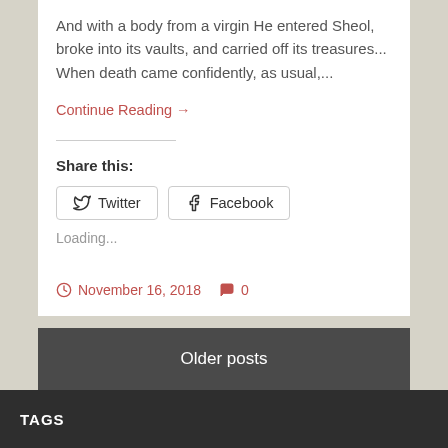And with a body from a virgin He entered Sheol, broke into its vaults, and carried off its treasures... When death came confidently, as usual,...
Continue Reading →
Share this:
Twitter
Facebook
Loading...
November 16, 2018
0
Older posts
TAGS